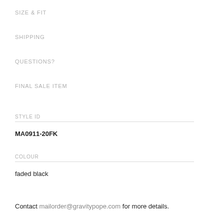SIZE & FIT
SHIPPING
QUESTIONS?
FINAL SALE ITEM
STYLE ID
MA0911-20FK
COLOUR
faded black
Contact mailorder@gravitypope.com for more details.